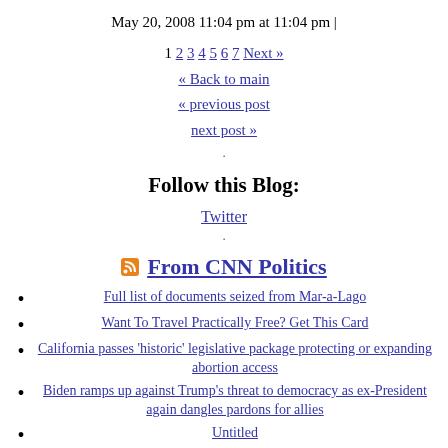May 20, 2008 11:04 pm at 11:04 pm |
1 2 3 4 5 6 7 Next » « Back to main « previous post next post »
.
Follow this Blog:
Twitter
.
From CNN Politics
Full list of documents seized from Mar-a-Lago
Want To Travel Practically Free? Get This Card
California passes 'historic' legislative package protecting or expanding abortion access
Biden ramps up against Trump's threat to democracy as ex-President again dangles pardons for allies
Untitled
Federal judge dismisses Carter Page lawsuit over